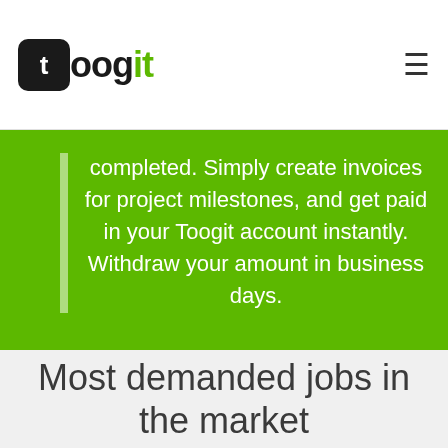toogit
completed. Simply create invoices for project milestones, and get paid in your Toogit account instantly. Withdraw your amount in business days.
Most demanded jobs in the market